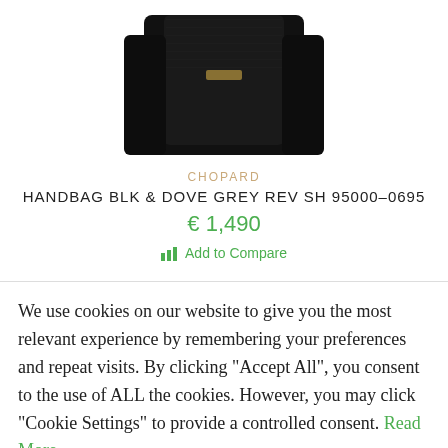[Figure (photo): Black Chopard handbag product photo, partially cropped at top]
CHOPARD
HANDBAG BLK & DOVE GREY REV SH 95000-0695
€ 1,490
Add to Compare
We use cookies on our website to give you the most relevant experience by remembering your preferences and repeat visits. By clicking "Accept All", you consent to the use of ALL the cookies. However, you may click "Cookie Settings" to provide a controlled consent. Read More
Cookie Settings
Accept All